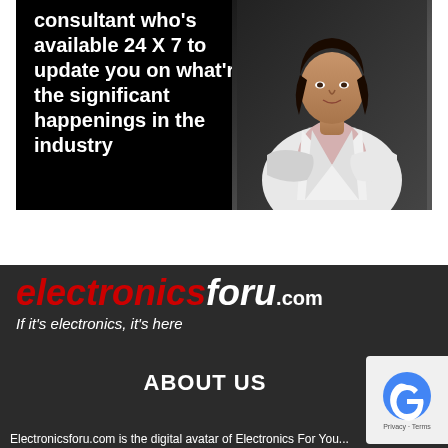[Figure (photo): Advertisement banner with black background showing a woman in a white blazer with arms crossed, and white bold text reading: consultant who's available 24 X 7 to update you on what're the significant happenings in the industry]
[Figure (logo): Electronicsforu.com logo in red and white italic text on dark background, with tagline 'If it's electronics, it's here']
ABOUT US
Electronicsforu.com is the digital avatar of Electronics For You